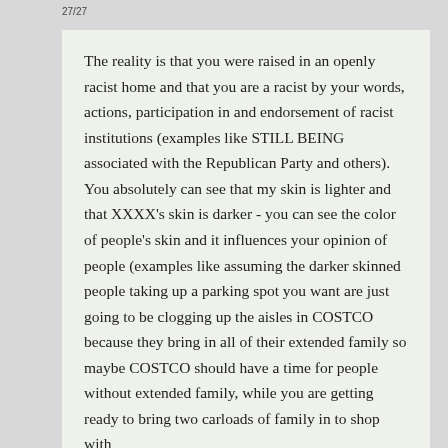27/27
The reality is that you were raised in an openly racist home and that you are a racist by your words, actions, participation in and endorsement of racist institutions (examples like STILL BEING associated with the Republican Party and others). You absolutely can see that my skin is lighter and that XXXX's skin is darker - you can see the color of people's skin and it influences your opinion of people (examples like assuming the darker skinned people taking up a parking spot you want are just going to be clogging up the aisles in COSTCO because they bring in all of their extended family so maybe COSTCO should have a time for people without extended family, while you are getting ready to bring two carloads of family in to shop with